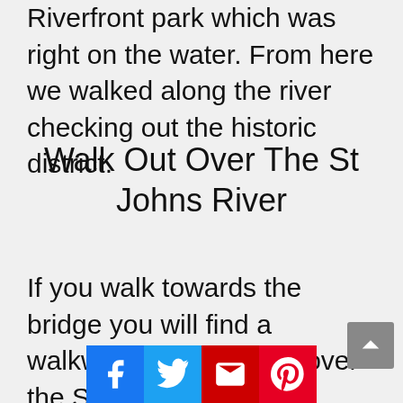Riverfront park which was right on the water. From here we walked along the river checking out the historic district.
Walk Out Over The St Johns River
If you walk towards the bridge you will find a walkway that leads out over the St Johns River and crosses under the bridge. There is a small memorial park along the way. There are also memorials along the riverfront walkway leading to the bridge. You can easily spend some time here walking around, checking out the